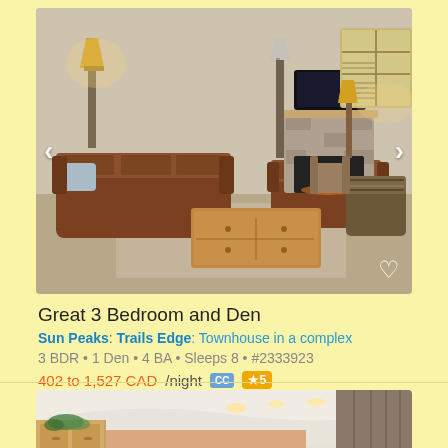[Figure (photo): Interior photo of a living room with brown leather sofas, a wooden coffee table, a stone fireplace, large windows, and warm lighting. Navigation arrows on left and right sides. Heart/favorite icon at bottom right.]
Great 3 Bedroom and Den
Sun Peaks: Trails Edge: Townhouse in a complex
3 BDR • 1 Den • 4 BA • Sleeps 8 • #2333923
402 to 1,527 CAD/night CC ★5
[Figure (photo): Interior photo of a room with white ceiling, recessed lighting, wooden cabinetry on the left, decorative plants, and curtains in the background.]